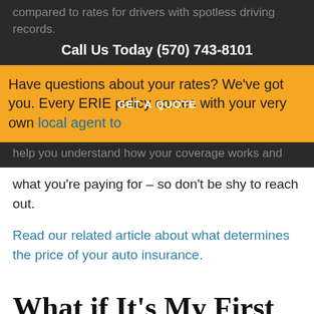compared to rates for drivers with spotless driving records.
Call Us Today (570) 743-8101
Have questions about your rates? We've got you. Every ERIE policy comes with your very own local agent to
GET A QUOTE
help you understand how your coverage works and what you're paying for – so don't be shy to reach out.
Read our related article about what determines the price of your auto insurance.
What if It's My First Violation?